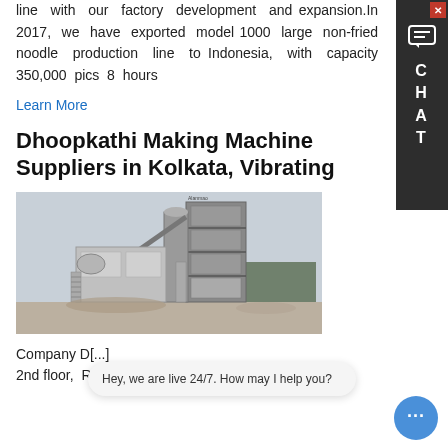line with our factory development and expansion.In 2017, we have exported model 1000 large non-fried noodle production line to Indonesia, with capacity 350,000 pics 8 hours
Learn More
Dhoopkathi Making Machine Suppliers in Kolkata, Vibrating
[Figure (photo): Industrial machine or plant facility — large multi-story steel structure with conveyor and equipment, photographed outdoors.]
Company D[...] 2nd floor, Room No. 6/7. Kolkata - 700001